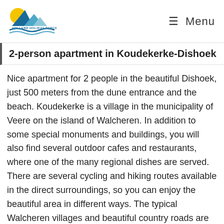Holland Holiday Parcs — Menu
2-person apartment in Koudekerke-Dishoek
Nice apartment for 2 people in the beautiful Dishoek, just 500 meters from the dune entrance and the beach. Koudekerke is a village in the municipality of Veere on the island of Walcheren. In addition to some special monuments and buildings, you will also find several outdoor cafes and restaurants, where one of the many regional dishes are served. There are several cycling and hiking routes available in the direct surroundings, so you can enjoy the beautiful area in different ways. The typical Walcheren villages and beautiful country roads are simply stunning. You can even rent bikes on the spot! And with the North Sea beach being just 500 meters away, you can always enjoy the Zeeland beaches. Here you can practice several water sports or...